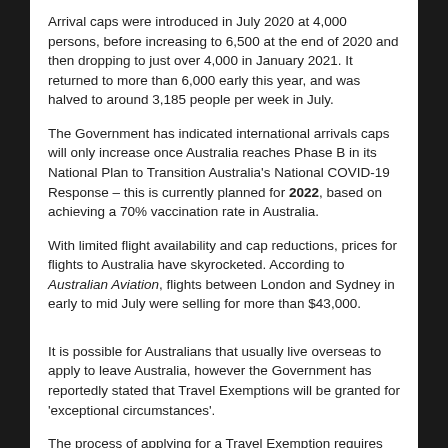Arrival caps were introduced in July 2020 at 4,000 persons, before increasing to 6,500 at the end of 2020 and then dropping to just over 4,000 in January 2021. It returned to more than 6,000 early this year, and was halved to around 3,185 people per week in July.
The Government has indicated international arrivals caps will only increase once Australia reaches Phase B in its National Plan to Transition Australia's National COVID-19 Response – this is currently planned for 2022, based on achieving a 70% vaccination rate in Australia.
With limited flight availability and cap reductions, prices for flights to Australia have skyrocketed. According to Australian Aviation, flights between London and Sydney in early to mid July were selling for more than $43,000.
It is possible for Australians that usually live overseas to apply to leave Australia, however the Government has reportedly stated that Travel Exemptions will be granted for 'exceptional circumstances'.
The process of applying for a Travel Exemption requires evidence to support a person's reasons for travel – find out